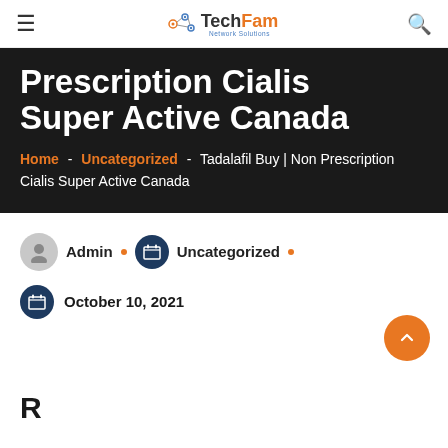TechFam Network Solutions
Prescription Cialis Super Active Canada
Home - Uncategorized - Tadalafil Buy | Non Prescription Cialis Super Active Canada
Admin • Uncategorized •
October 10, 2021